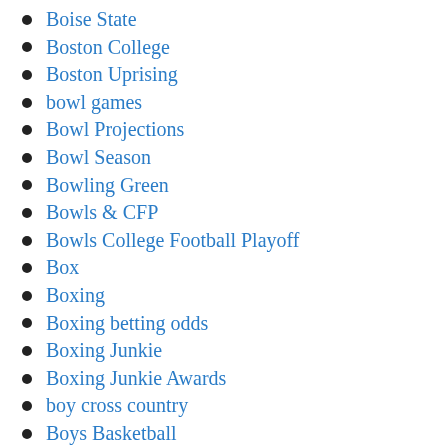Boise State
Boston College
Boston Uprising
bowl games
Bowl Projections
Bowl Season
Bowling Green
Bowls & CFP
Bowls College Football Playoff
Box
Boxing
Boxing betting odds
Boxing Junkie
Boxing Junkie Awards
boy cross country
Boys Basketball